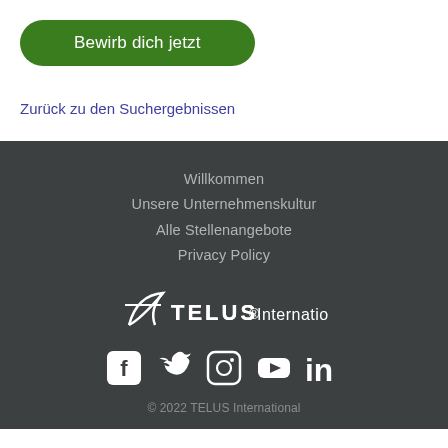Bewirb dich jetzt
Zurück zu den Suchergebnissen
Willkommen
Unsere Unternehmenskultur
Alle Stellenangebote
Privacy Policy
[Figure (logo): TELUS International logo with stylized t graphic in white on dark background]
[Figure (infographic): Social media icons: Facebook, Twitter, Instagram, YouTube, LinkedIn in white]
© 2022 TELUS International